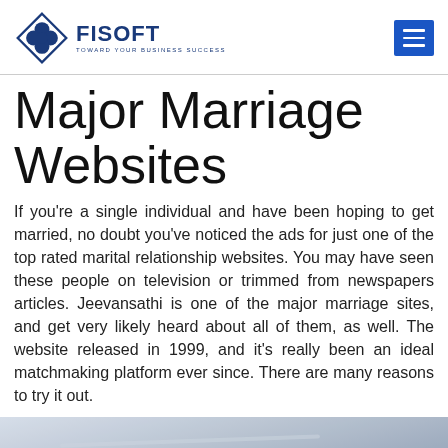FISOFT — TOWARD YOUR BUSINESS SUCCESS
Major Marriage Websites
If you're a single individual and have been hoping to get married, no doubt you've noticed the ads for just one of the top rated marital relationship websites. You may have seen these people on television or trimmed from newspapers articles. Jeevansathi is one of the major marriage sites, and get very likely heard about all of them, as well. The website released in 1999, and it's really been an ideal matchmaking platform ever since. There are many reasons to try it out.
[Figure (photo): Blurred photograph of a person standing indoors, appears to be in a room with overhead fixtures visible.]